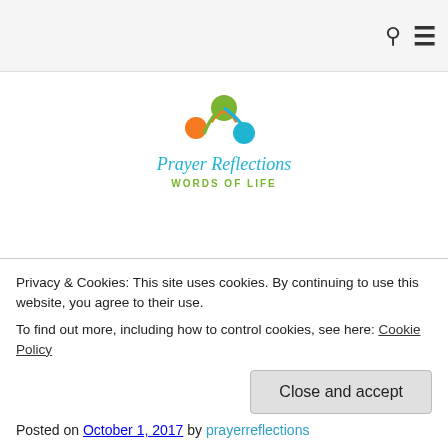Navigation bar with search and menu icons
[Figure (logo): Prayer Reflections logo with three stylized figures in orange, blue, and green, with text 'Prayer Reflections' in blue cursive and 'WORDS OF LIFE' in green uppercase below]
PRAYER REFLECTIONS
Imitation of Christ in the
Privacy & Cookies: This site uses cookies. By continuing to use this website, you agree to their use.
To find out more, including how to control cookies, see here: Cookie Policy
Close and accept
Posted on October 1, 2017 by prayerreflections